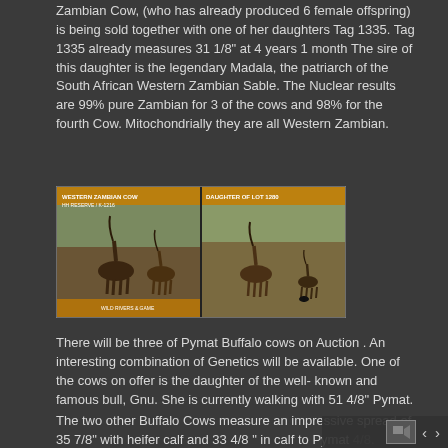Zambian Cow, (who has already produced 6 female offspring) is being sold together with one of her daughters Tag 1335. Tag 1335 already measures 31 1/8" at 4 years 1 month The sire of this daughter is the legendary Madala, the patriarch of the South African Western Zambian Sable. The Nuclear results are 99% pure Zambian for 3 of the cows and 98% for the fourth Cow.  Mitochondrially they are all Western Zambian.
[Figure (photo): Two side-by-side photo panels showing Sable antelopes in natural bush/savanna habitat. Left panel labeled 'WESTERN ZAMBIAN COW' shows two sable antelopes. Right panel labeled 'DAUGHTER OF LOT 1280' shows two sable antelopes including a calf.]
There will be three of Pymat Buffalo cows on Auction . An interesting combination of Genetics will be available.  One of the cows on offer is the daughter of the well- known and famous bull, Gnu.  She is currently walking with 51 4/8" Pymat.
The two other Buffalo Cows  measure an impressive spread of 35 7/8" with heifer calf and  33 4/8 "  in calf  to  Pymat 4/8.